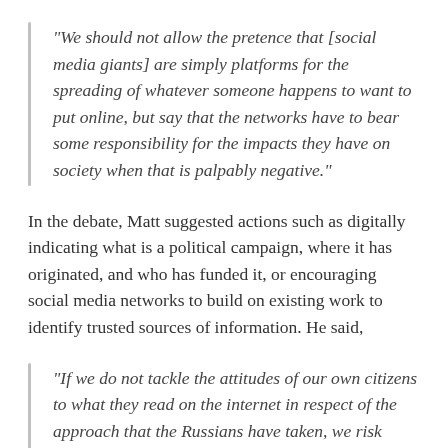“We should not allow the pretence that [social media giants] are simply platforms for the spreading of whatever someone happens to want to put online, but say that the networks have to bear some responsibility for the impacts they have on society when that is palpably negative.”
In the debate, Matt suggested actions such as digitally indicating what is a political campaign, where it has originated, and who has funded it, or encouraging social media networks to build on existing work to identify trusted sources of information. He said,
“If we do not tackle the attitudes of our own citizens to what they read on the internet in respect of the approach that the Russians have taken, we risk more and more people not believing